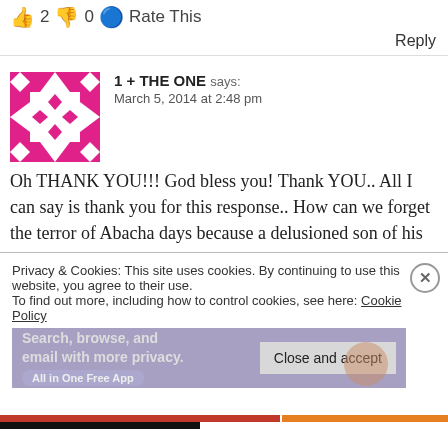👍 2 👎 0 🔵 Rate This
Reply
1 + THE ONE says:
March 5, 2014 at 2:48 pm
Oh THANK YOU!!! God bless you! Thank YOU.. All I can say is thank you for this response.. How can we forget the terror of Abacha days because a delusioned son of his thinks an award ceremony that was a joke going behind the backs of Nigeria to 'honour' his father deems him worthy of it.. Tufia!
Privacy & Cookies: This site uses cookies. By continuing to use this website, you agree to their use.
To find out more, including how to control cookies, see here: Cookie Policy
Close and accept